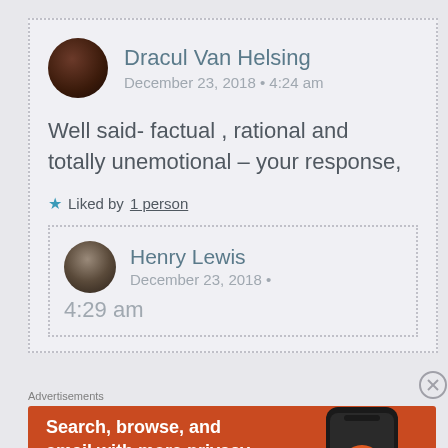Dracul Van Helsining
December 23, 2018 • 4:24 am
Well said- factual , rational and totally unemotional – your response,
★ Liked by 1 person
Henry Lewis
December 23, 2018 • 4:29 am
Advertisements
[Figure (screenshot): DuckDuckGo advertisement banner with orange background, showing 'Search, browse, and email with more privacy. All in One Free App' text and a phone image with DuckDuckGo logo]